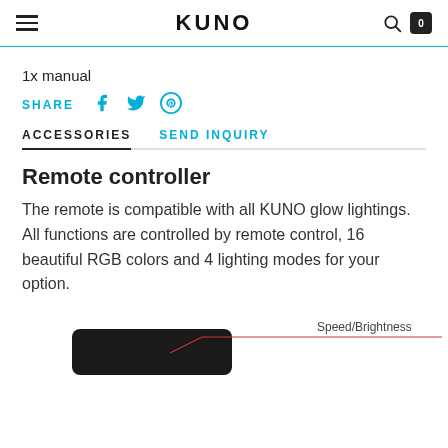KUNO
1x manual
SHARE
ACCESSORIES   SEND INQUIRY
Remote controller
The remote is compatible with all KUNO glow lightings. All functions are controlled by remote control, 16 beautiful RGB colors and 4 lighting modes for your option.
[Figure (engineering-diagram): Partial image of a remote controller with a red line pointing to a label reading 'Speed/Brightness']